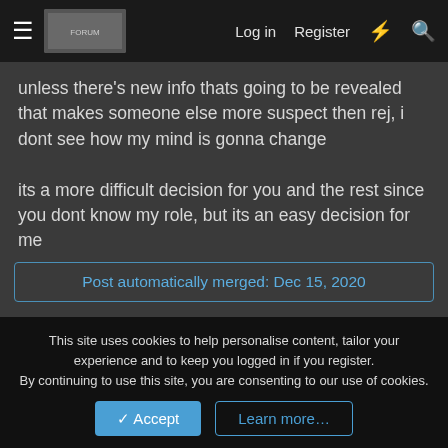Log in  Register
unless there's new info thats going to be revealed that makes someone else more suspect then rej, i dont see how my mind is gonna change
its a more difficult decision for you and the rest since you dont know my role, but its an easy decision for me
Post automatically merged: Dec 15, 2020
Pretend im town*
Flower
~ The Ashen Herald ~
This site uses cookies to help personalise content, tailor your experience and to keep you logged in if you register.
By continuing to use this site, you are consenting to our use of cookies.